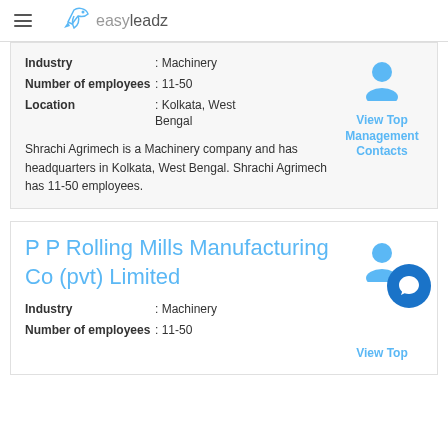easy leadz
Industry : Machinery
Number of employees : 11-50
Location : Kolkata, West Bengal
Shrachi Agrimech is a Machinery company and has headquarters in Kolkata, West Bengal. Shrachi Agrimech has 11-50 employees.
View Top Management Contacts
P P Rolling Mills Manufacturing Co (pvt) Limited
Industry : Machinery
Number of employees : 11-50
View Top